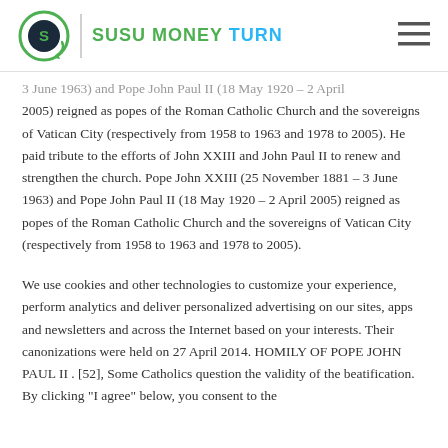SUSU MONEY TURN
3 June 1963) and Pope John Paul II (18 May 1920 – 2 April 2005) reigned as popes of the Roman Catholic Church and the sovereigns of Vatican City (respectively from 1958 to 1963 and 1978 to 2005). He paid tribute to the efforts of John XXIII and John Paul II to renew and strengthen the church. Pope John XXIII (25 November 1881 – 3 June 1963) and Pope John Paul II (18 May 1920 – 2 April 2005) reigned as popes of the Roman Catholic Church and the sovereigns of Vatican City (respectively from 1958 to 1963 and 1978 to 2005).
We use cookies and other technologies to customize your experience, perform analytics and deliver personalized advertising on our sites, apps and newsletters and across the Internet based on your interests. Their canonizations were held on 27 April 2014. HOMILY OF POPE JOHN PAUL II . [52], Some Catholics question the validity of the beatification. By clicking "I agree" below, you consent to the